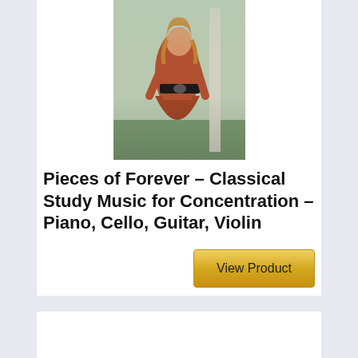[Figure (photo): Photo of a woman in a rust/terracotta colored long dress with a black belt, standing outdoors near a fence with greenery in background]
Pieces of Forever – Classical Study Music for Concentration – Piano, Cello, Guitar, Violin
View Product